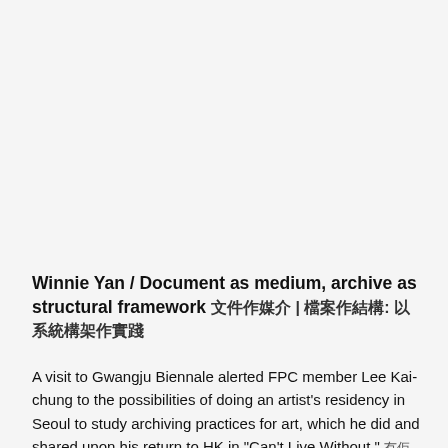Winnie Yan / Document as medium, archive as structural framework 文件作媒介 | 檔案作結構: 以系統構架作實踐
A visit to Gwangju Biennale alerted FPC member Lee Kai-chung to the possibilities of doing an artist's residency in Seoul to study archiving practices for art, which he did and shared upon his return to HK in "Can't Live Without." 冇佢唔得MMCA